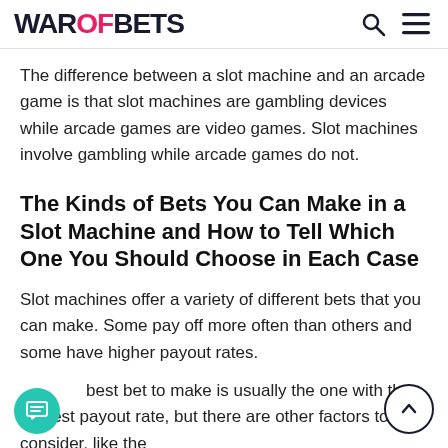WAROFBETS
The difference between a slot machine and an arcade game is that slot machines are gambling devices while arcade games are video games. Slot machines involve gambling while arcade games do not.
The Kinds of Bets You Can Make in a Slot Machine and How to Tell Which One You Should Choose in Each Case
Slot machines offer a variety of different bets that you can make. Some pay off more often than others and some have higher payout rates.
best bet to make is usually the one with the highest payout rate, but there are other factors to consider, like the